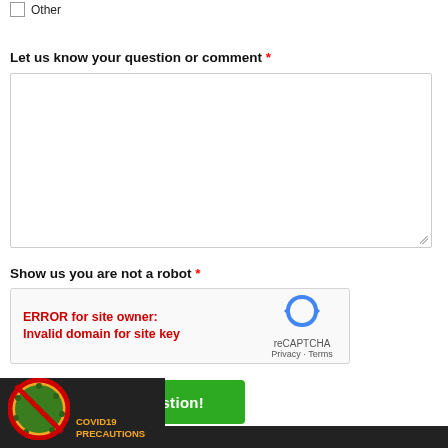Other
Let us know your question or comment *
[Figure (screenshot): Empty textarea input box for user comments]
Show us you are not a robot *
[Figure (screenshot): reCAPTCHA widget showing ERROR for site owner: Invalid domain for site key, with reCAPTCHA logo and Privacy/Terms links]
[Figure (other): Green Send your Question! button]
[Figure (other): COVID19 PRECAUTIONS badge with virus image crossed out in red circle on dark background]